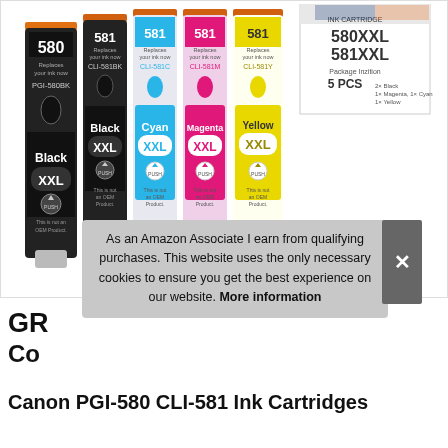[Figure (photo): Product photo of 5 Canon PGI-580 CLI-581 XXL ink cartridges (Black PGI-580BK, Black CLI-581BK, Cyan CLI-581C, Magenta CLI-581M, Yellow CLI-581Y) standing side by side, with a product box showing 580XXL 581XXL 5 PCS in the background top right.]
As an Amazon Associate I earn from qualifying purchases. This website uses the only necessary cookies to ensure you get the best experience on our website. More information
GR... Compatible Ink Cartridges for Canon PGI-580 CLI-581 Ink Cartridges